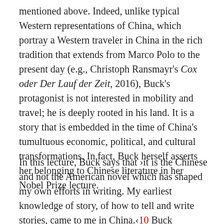mentioned above. Indeed, unlike typical Western representations of China, which portray a Western traveler in China in the rich tradition that extends from Marco Polo to the present day (e.g., Christoph Ransmayr's Cox oder Der Lauf der Zeit, 2016), Buck's protagonist is not interested in mobility and travel; he is deeply rooted in his land. It is a story that is embedded in the time of China's tumultuous economic, political, and cultural transformations. In fact, Buck herself asserts her belonging to Chinese literature in her Nobel Prize lecture.
In this lecture, Buck says that ›it is the Chinese and not the American novel which has shaped my own efforts in writing. My earliest knowledge of story, of how to tell and write stories, came to me in China.‹10 Buck mentions the fact that the novel is not considered a high art in the classical literary tradition. Yet she sees it as ›the peculiar product of